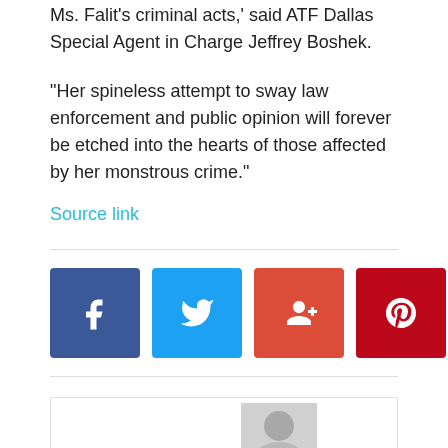Ms. Falit's criminal acts,' said ATF Dallas Special Agent in Charge Jeffrey Boshek.
“Her spineless attempt to sway law enforcement and public opinion will forever be etched into the hearts of those affected by her monstrous crime.”
Source link
[Figure (infographic): Social media share buttons: Facebook (blue), Twitter (cyan), Google+ (red-orange), Pinterest (dark red), WhatsApp (green)]
[Figure (photo): Author photo box with a person's photo partially visible]